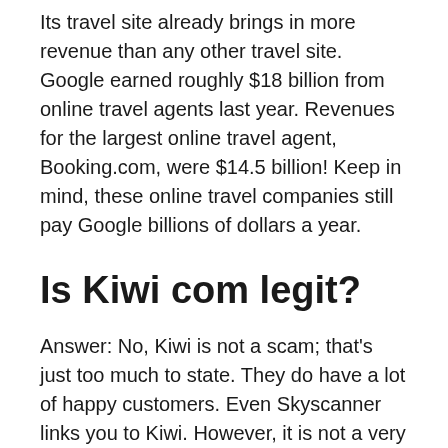Its travel site already brings in more revenue than any other travel site. Google earned roughly $18 billion from online travel agents last year. Revenues for the largest online travel agent, Booking.com, were $14.5 billion! Keep in mind, these online travel companies still pay Google billions of dollars a year.
Is Kiwi com legit?
Answer: No, Kiwi is not a scam; that's just too much to state. They do have a lot of happy customers. Even Skyscanner links you to Kiwi. However, it is not a very reliable website with a perfect customer service.